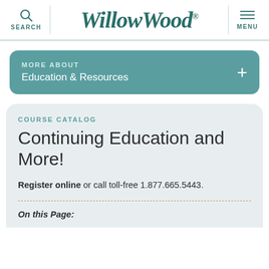SEARCH | WillowWood® | MENU
MORE ABOUT Education & Resources
COURSE CATALOG
Continuing Education and More!
Register online or call toll-free 1.877.665.5443.
On this Page: